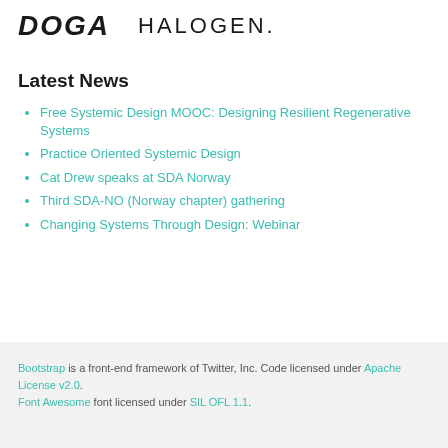[Figure (logo): DOGA logo in bold italic black text and HALOGEN. in spaced black capital letters]
Latest News
Free Systemic Design MOOC: Designing Resilient Regenerative Systems
Practice Oriented Systemic Design
Cat Drew speaks at SDA Norway
Third SDA-NO (Norway chapter) gathering
Changing Systems Through Design: Webinar
Bootstrap is a front-end framework of Twitter, Inc. Code licensed under Apache License v2.0. Font Awesome font licensed under SIL OFL 1.1.